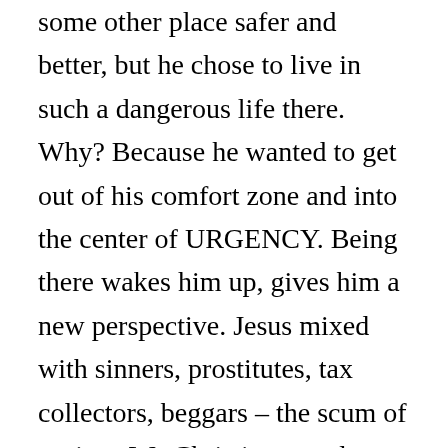some other place safer and better, but he chose to live in such a dangerous life there. Why? Because he wanted to get out of his comfort zone and into the center of URGENCY. Being there wakes him up, gives him a new perspective. Jesus mixed with sinners, prostitutes, tax collectors, beggars – the scum of society. We Christians need to minister to these kind of people too. One thing that Bill Wilson said struck me. He told of how once a week he would make the effort to eat with the kids in the streets and just